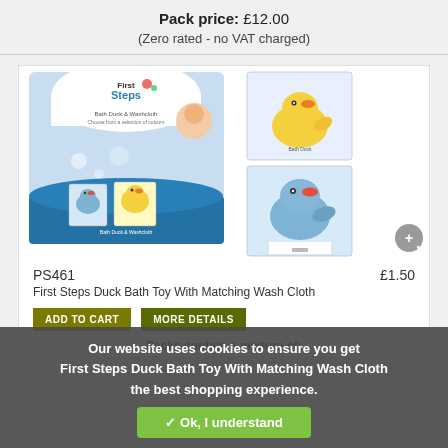Pack price: £12.00
(Zero rated - no VAT charged)
[Figure (photo): First Steps Bath Duck & Washcloth product display box with yellow and blue rubber duck bath toys shown in packaging and individual product shots]
PS461
£1.50
First Steps Duck Bath Toy With Matching Wash Cloth
ADD TO CART
MORE DETAILS
Packs contain a mixture of:
Our website uses cookies to ensure you get the best shopping experience.
✓ Ok, I understand